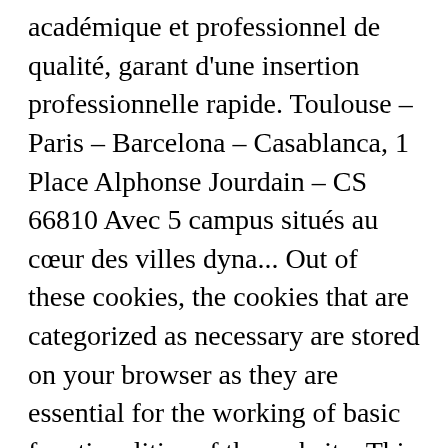académique et professionnel de qualité, garant d'une insertion professionnelle rapide. Toulouse – Paris – Barcelona – Casablanca, 1 Place Alphonse Jourdain – CS 66810 Avec 5 campus situés au cœur des villes dyna... Out of these cookies, the cookies that are categorized as necessary are stored on your browser as they are essential for the working of basic functionalities of the website. This category only includes cookies that ensures basic functionalities and security features of the website. TBS est dispose d'une triple accréditation depuis 2003. Any cookies that may not be particularly necessary for the website to function and is used specifically to